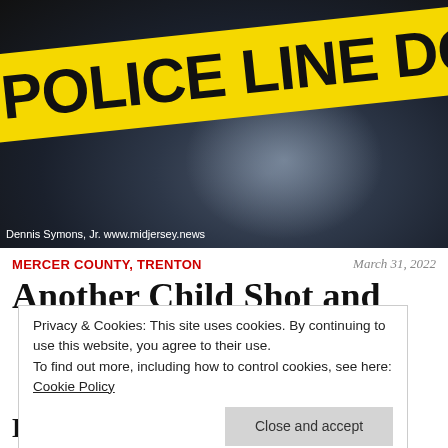[Figure (photo): Yellow police line 'DO NOT CROSS' tape stretched across a dark asphalt scene, photographed by Dennis Symons Jr. for www.midjersey.news]
Dennis Symons, Jr. www.midjersey.news
MERCER COUNTY, TRENTON
March 31, 2022
Another Child Shot and
Privacy & Cookies: This site uses cookies. By continuing to use this website, you agree to their use.
To find out more, including how to control cookies, see here: Cookie Policy
Close and accept
Death of Tahaad Goss; 14-Year-